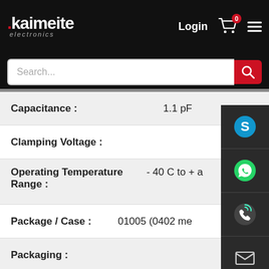[Figure (screenshot): Kaimeite Electronics website header with logo, Login, cart icon with badge 0, and hamburger menu on black background]
[Figure (screenshot): Search bar with placeholder 'Search...' and red search button]
| Property | Value |
| --- | --- |
| Capacitance : | 1.1 pF |
| Clamping Voltage : |  |
| Operating Temperature Range : | - 40 C to + a |
| Package / Case : | 01005 (0402 me |
| Packaging : |  |
| Peak Surge Current : |  |
| Product : | N |
[Figure (infographic): Right sidebar with Skype, WhatsApp, phone, email icons and QR code on dark background]